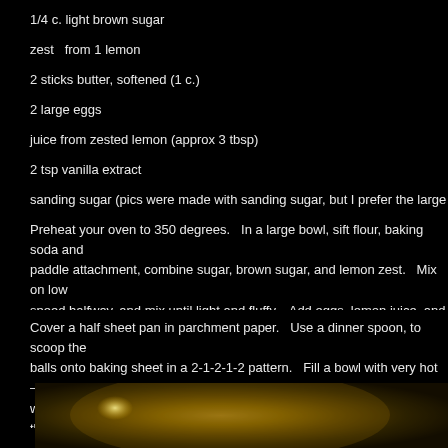1/4 c. light brown sugar
zest  from 1 lemon
2 sticks butter, softened (1 c.)
2 large eggs
juice from zested lemon (approx 3 tbsp)
2 tsp vanilla extract
sanding sugar (pics were made with sanding sugar, but I prefer the large cryst
Preheat your oven to 350 degrees.  In a large bowl, sift flour, baking soda and paddle attachment, combine sugar, brown sugar, and lemon zest.  Mix on low speed halfway, and mix until light and fluffy.  Add eggs, lemon juice, and vanilla add dry ingredients and mix until combined.
Cover a half sheet pan in parchment paper.  Use a dinner spoon, to scoop the balls onto baking sheet in a 2-1-2-1-2 pattern.  Fill a bowl with very hot – nearl water, then flatten the tops of the cookies as shown below.  If you skip the hot with sanding/shimmer sugar.  Bake in oven for 15 minutes, let rest on baking s racks.
[Figure (photo): Close-up photo of a golden/bronze colored mixing bowl against a light background, partially visible at the bottom of the page.]